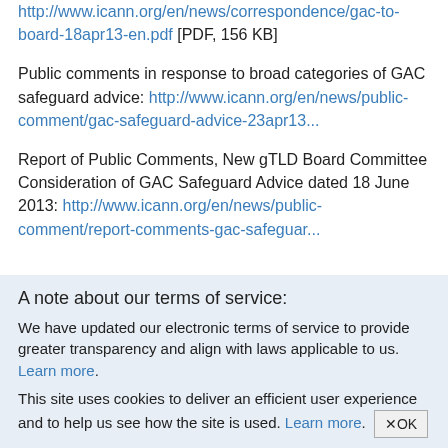http://www.icann.org/en/news/correspondence/gac-to-board-18apr13-en.pdf [PDF, 156 KB]
Public comments in response to broad categories of GAC safeguard advice: http://www.icann.org/en/news/public-comment/gac-safeguard-advice-23apr13...
Report of Public Comments, New gTLD Board Committee Consideration of GAC Safeguard Advice dated 18 June 2013: http://www.icann.org/en/news/public-comment/report-comments-gac-safeguar...
A note about our terms of service:
We have updated our electronic terms of service to provide greater transparency and align with laws applicable to us. Learn more.
This site uses cookies to deliver an efficient user experience and to help us see how the site is used. Learn more. ✕OK